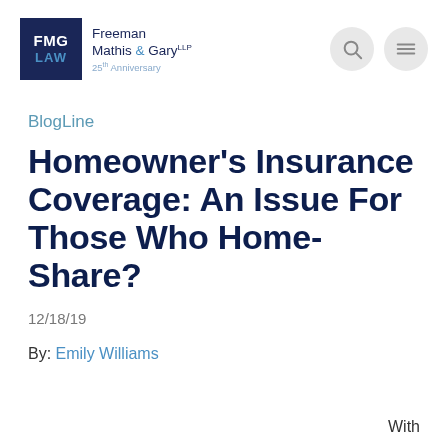FMG LAW Freeman Mathis & Gary LLP 25th Anniversary
BlogLine
Homeowner's Insurance Coverage: An Issue For Those Who Home-Share?
12/18/19
By: Emily Williams
With